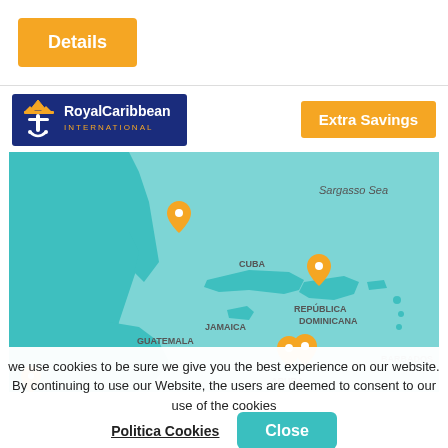Details
[Figure (map): Caribbean map showing cruise route with location pins on Cuba, Republica Dominicana, Jamaica, Guatemala, Aruba, Barbados. Sargasso Sea labeled. Teal/green land masses on light teal ocean background.]
Extra Savings
we use cookies to be sure we give you the best experience on our website. By continuing to use our Website, the users are deemed to consent to our use of the cookies
Politica Cookies
Close